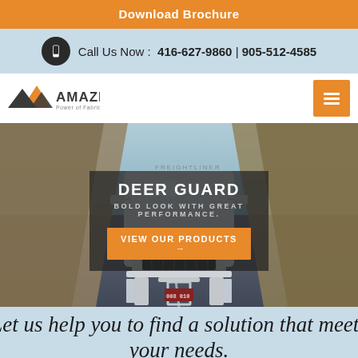Download Brochure
Call Us Now : 416-627-9860 | 905-512-4585
[Figure (logo): AMAZE Power of Fabrication logo with mountain/triangle symbol in orange and dark grey]
[Figure (photo): Front view of a silver semi-truck on a mountain road with rocky cliffs on both sides. The truck has a prominent chrome deer guard/bull bar with LED lights.]
DEER GUARD
BOLD LOOK WITH GREAT PERFORMANCE.
VIEW OUR PRODUCTS →
Let us help you to find a solution that meets your needs.